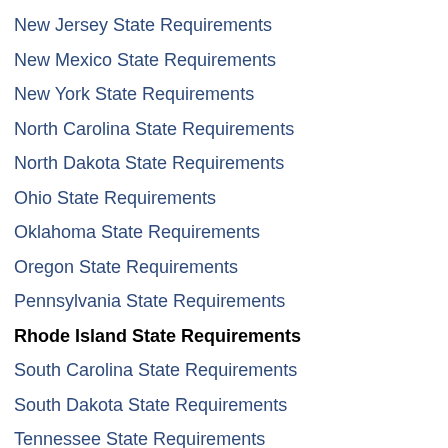New Jersey State Requirements
New Mexico State Requirements
New York State Requirements
North Carolina State Requirements
North Dakota State Requirements
Ohio State Requirements
Oklahoma State Requirements
Oregon State Requirements
Pennsylvania State Requirements
Rhode Island State Requirements
South Carolina State Requirements
South Dakota State Requirements
Tennessee State Requirements